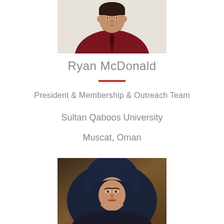[Figure (photo): Portrait photo of Ryan McDonald - man in dark red/maroon shirt with tie, upper body cropped, light background]
Ryan McDonald
President & Membership & Outreach Team
Sultan Qaboos University
Muscat, Oman
[Figure (photo): Portrait photo of a woman wearing a dark navy hijab, formal attire, brown gradient background]